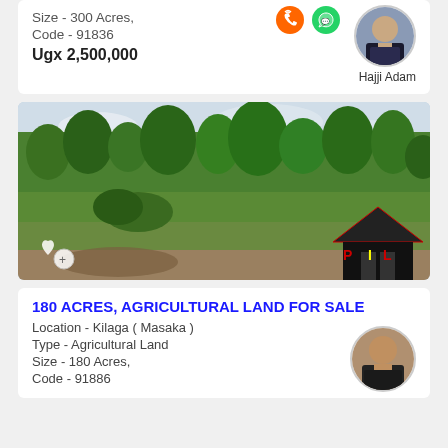Size - 300 Acres,
Code - 91836
Ugx 2,500,000
[Figure (photo): Agent profile photo - man in suit (Hajji Adam)]
Hajji Adam
[Figure (photo): Agricultural land landscape photo - green vegetation and trees in Kilaga, Masaka]
180 ACRES, AGRICULTURAL LAND FOR SALE
Location - Kilaga  ( Masaka )
Type - Agricultural Land
Size -  180 Acres,
Code - 91886
[Figure (photo): Agent profile photo - man in suit (second agent)]